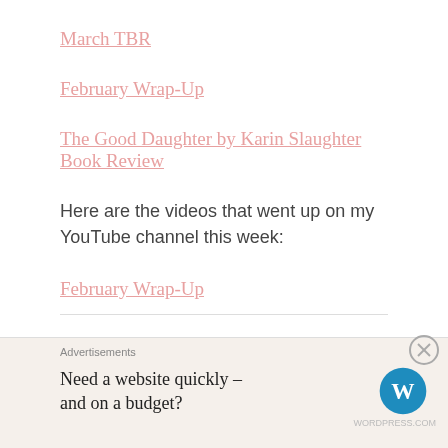March TBR
February Wrap-Up
The Good Daughter by Karin Slaughter Book Review
Here are the videos that went up on my YouTube channel this week:
February Wrap-Up
Exciting Books Hauled/Weekly Highlights
Advertisements
Need a website quickly – and on a budget?